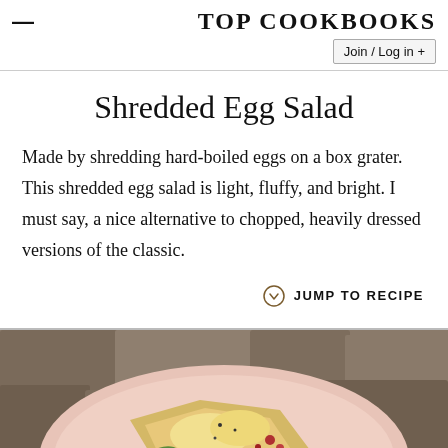≡  TOP COOKBOOKS
Join / Log in +
Shredded Egg Salad
Made by shredding hard-boiled eggs on a box grater. This shredded egg salad is light, fluffy, and bright. I must say, a nice alternative to chopped, heavily dressed versions of the classic.
↓ JUMP TO RECIPE
[Figure (photo): A pink plate with shredded egg salad on toast, garnished with greens and red toppings, on a stone surface]